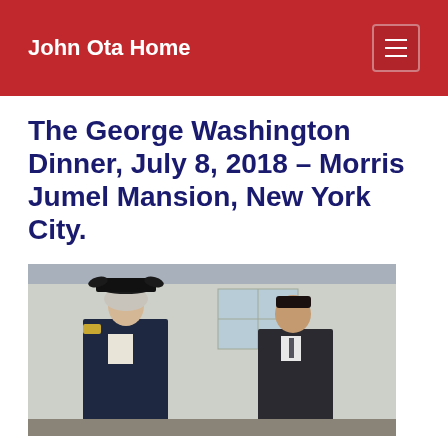John Ota Home
The George Washington Dinner, July 8, 2018 – Morris Jumel Mansion, New York City.
[Figure (photo): Two people standing outdoors in front of a building. The person on the left is dressed as George Washington in a historical military uniform with a tricorn hat and colonial costume. The person on the right appears to be an Asian man in a dark suit.]